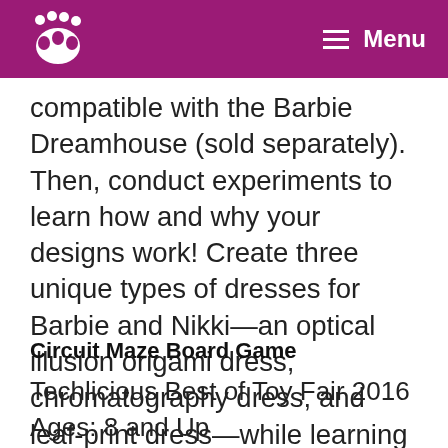Menu
compatible with the Barbie Dreamhouse (sold separately). Then, conduct experiments to learn how and why your designs work! Create three unique types of dresses for Barbie and Nikki—an optical illusion origami dress, chromatography dress, and leaf-print dress—while learning important lessons in biology and chemistry. Follow along with the story and discover ways to use science to solve problems!
Circuit Maze Board Game
Techlicious Best of Toy Fair 2016
Ages: 8 and Up